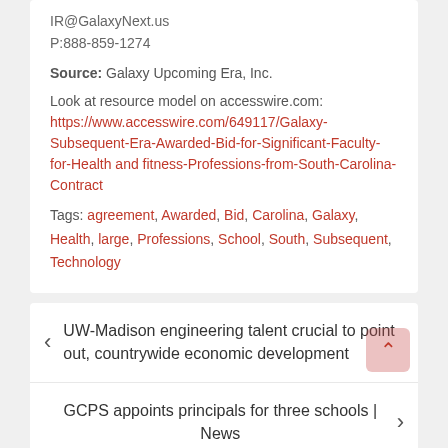IR@GalaxyNext.us
P:888-859-1274
Source: Galaxy Upcoming Era, Inc.
Look at resource model on accesswire.com: https://www.accesswire.com/649117/Galaxy-Subsequent-Era-Awarded-Bid-for-Significant-Faculty-for-Health and fitness-Professions-from-South-Carolina-Contract
Tags: agreement, Awarded, Bid, Carolina, Galaxy, Health, large, Professions, School, South, Subsequent, Technology
UW-Madison engineering talent crucial to point out, countrywide economic development
GCPS appoints principals for three schools | News